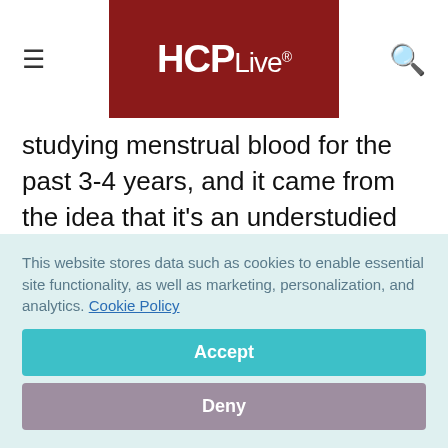HCPLive®
studying menstrual blood for the past 3-4 years, and it came from the idea that it's an understudied biological specimen. Very few people have actually studied it at any level of detail, and the cause of endometriosis is really not well understood.
This website stores data such as cookies to enable essential site functionality, as well as marketing, personalization, and analytics. Cookie Policy Accept Deny